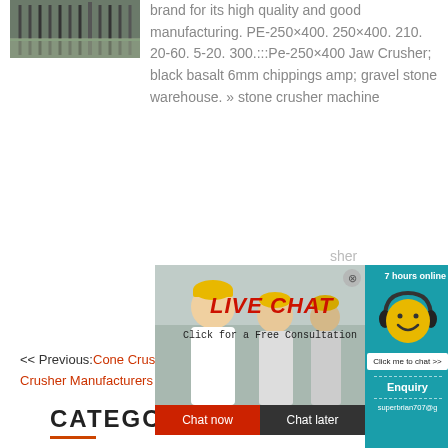[Figure (photo): Small thumbnail photo of industrial equipment/infrastructure with dark metallic structures]
brand for its high quality and good manufacturing. PE-250×400. 250×400. 210. 20-60. 5-20. 300.:::Pe-250×400 Jaw Crusher; black basalt 6mm chippings amp; gravel stone warehouse. » stone crusher machine
[Figure (photo): Live chat popup overlay showing workers in yellow hard hats, with LIVE CHAT heading in red italic, 'Click for a Free Consultation' subtitle, Chat now (red) and Chat later (dark) buttons, and a teal sidebar with smiley face headset icon, 7 hours online, Click me to chat, Enquiry, and email address]
<< Previous:Cone Crusher Gap Size Zero >> Crusher Manufacturers In China
CATEGORIES